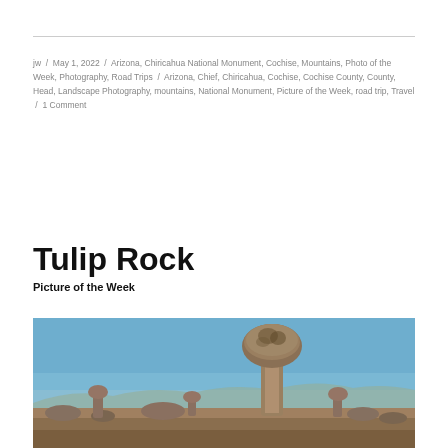jw / May 1, 2022 / Arizona, Chiricahua National Monument, Cochise, Mountains, Photo of the Week, Photography, Road Trips / Arizona, Chief, Chiricahua, Cochise, Cochise County, County, Head, Landscape Photography, mountains, National Monument, Picture of the Week, road trip, Travel / 1 Comment
Tulip Rock
Picture of the Week
[Figure (photo): Outdoor landscape photo of Tulip Rock, a distinctive mushroom-shaped balanced rock formation at Chiricahua National Monument, Arizona, against a clear blue sky with rocky terrain below.]